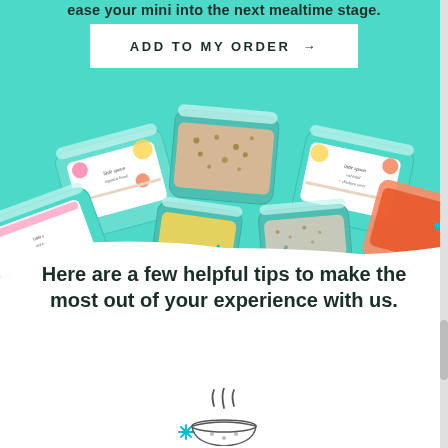ease your mini into the next mealtime stage.
ADD TO MY ORDER →
[Figure (photo): Multiple Little Spoon baby food containers (Tapioca Bowl, Red Lentil & Chickpea Curry, and others) floating on a teal background, with small teal spoons.]
Here are a few helpful tips to make the most out of your experience with us.
[Figure (illustration): Steam wisps rising from a small bowl illustration at the bottom of the page.]